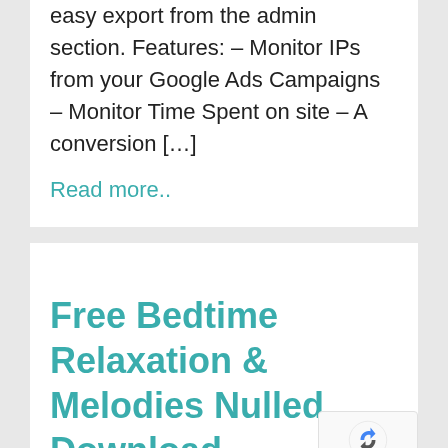easy export from the admin section. Features: – Monitor IPs from your Google Ads Campaigns – Monitor Time Spent on site – A conversion […]
Read more..
Free Bedtime Relaxation & Melodies Nulled Download
Bedtime Relaxation & Melodies is designed to help kids and adults fall